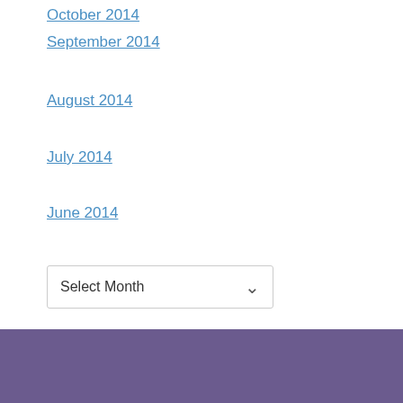October 2014
September 2014
August 2014
July 2014
June 2014
[Figure (screenshot): A dropdown/select element with label 'Select Month' and a chevron arrow on the right]
Purple footer bar